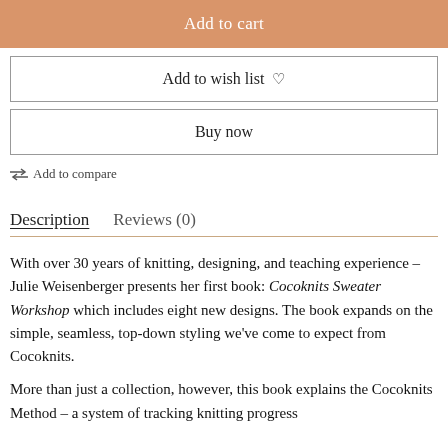Add to cart
Add to wish list ♡
Buy now
⇄ Add to compare
Description   Reviews (0)
With over 30 years of knitting, designing, and teaching experience – Julie Weisenberger presents her first book: Cocoknits Sweater Workshop which includes eight new designs. The book expands on the simple, seamless, top-down styling we've come to expect from Cocoknits.
More than just a collection, however, this book explains the Cocoknits Method – a system of tracking knitting progress